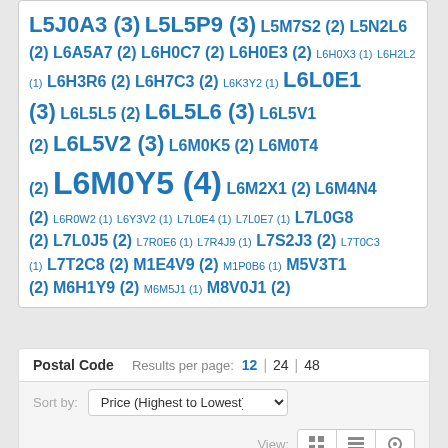L5J0A3 (3) L5L5P9 (3) L5M7S2 (2) L5N2L6 (2) L6A5A7 (2) L6H0C7 (2) L6H0E3 (2) L6H0X3 (1) L6H2L2 (1) L6H3R6 (2) L6H7C3 (2) L6K3Y2 (1) L6L0E1 (3) L6L5L5 (2) L6L5L6 (3) L6L5V1 (2) L6L5V2 (3) L6M0K5 (2) L6M0T4 (2) L6M0Y5 (4) L6M2X1 (2) L6M4N4 (2) L6R0W2 (1) L6Y3V2 (1) L7L0E4 (1) L7L0E7 (1) L7L0G8 (2) L7L0J5 (2) L7R0E6 (1) L7R4J9 (1) L7S2J3 (2) L7T0C3 (1) L7T2C8 (2) M1E4V9 (2) M1P0B6 (1) M5V3T1 (2) M6H1Y9 (2) M6M5J1 (1) M8V0J1 (2)
Postal Code  Results per page: 12 | 24 | 48
Sort by: Price (Highest to Lowest)
View: [grid] [list] [map]